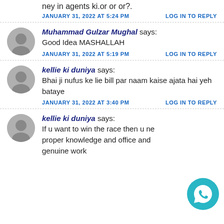ney in agents ki.or or or?.
JANUARY 31, 2022 AT 5:24 PM    LOG IN TO REPLY
Muhammad Gulzar Mughal says:
Good Idea MASHALLAH
JANUARY 31, 2022 AT 5:19 PM    LOG IN TO REPLY
kellie ki duniya says:
Bhai ji nufus ke lie bill par naam kaise ajata hai yeh bataye
JANUARY 31, 2022 AT 3:40 PM    LOG IN TO REPLY
kellie ki duniya says:
If u want to win the race then u ne proper knowledge and office and genuine work
[Figure (logo): WhatsApp button icon in teal circle]